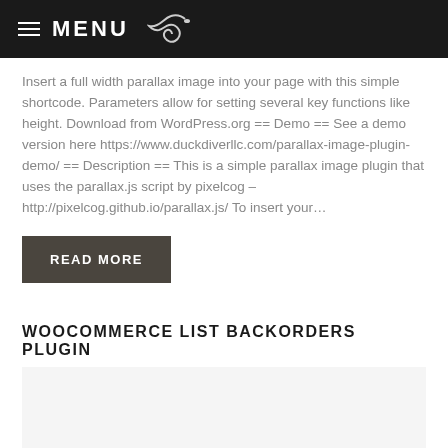≡ MENU
Insert a full width parallax image into your page with this simple shortcode. Parameters allow for setting several key functions like height. Download from WordPress.org == Demo == See a demo version here https://www.duckdiverllc.com/parallax-image-plugin-demo/ == Description == This is a simple parallax image plugin that uses the parallax.js script by pixelcog – http://pixelcog.github.io/parallax.js/ To insert your…
READ MORE
WOOCOMMERCE LIST BACKORDERS PLUGIN
WooCommerce List Backorders in Admin A Wordpress Plugin to List Backorders and keep track of orders with backordered items in WooCommerce. This plugin will add an admin menu item to the WooCommerce Admin Items to 'list Backorders' for easy viewing…